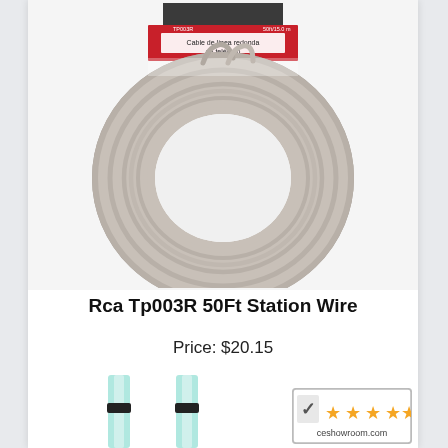[Figure (photo): Coil of gray telephone station wire with red product label reading 'Cable de linea redonda de teléfono', product code TP003R, 50ft/15.0m]
Rca Tp003R 50Ft Station Wire
Price: $20.15
[Figure (photo): Two light-blue fiber optic or audio cables with black connectors at top, partially visible at bottom of page]
[Figure (logo): CE Showroom rating badge: checkmark logo, 5 orange stars, text 'ceshowroom.com']